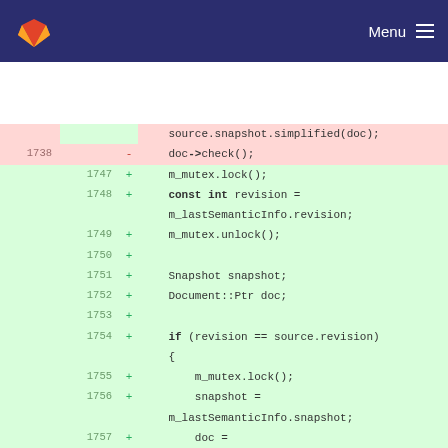[Figure (screenshot): GitLab navigation bar with orange/red fox logo on dark navy background and Menu button with hamburger icon on the right]
Code diff view showing lines 1738 (deleted: doc->check();) and lines 1747-1760 (added: m_mutex.lock(), const int revision = m_lastSemanticInfo.revision, m_mutex.unlock(), Snapshot snapshot, Document::Ptr doc, if (revision == source.revision) { m_mutex.lock(); snapshot = m_lastSemanticInfo.snapshot; doc = m_lastSemanticInfo.doc; m_mutex.unlock(); } else { const QByteArray